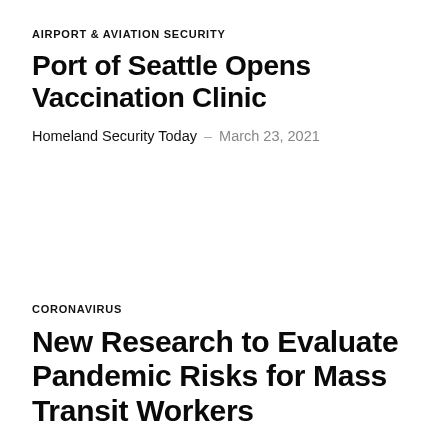AIRPORT & AVIATION SECURITY
Port of Seattle Opens Vaccination Clinic
Homeland Security Today – March 23, 2021
CORONAVIRUS
New Research to Evaluate Pandemic Risks for Mass Transit Workers